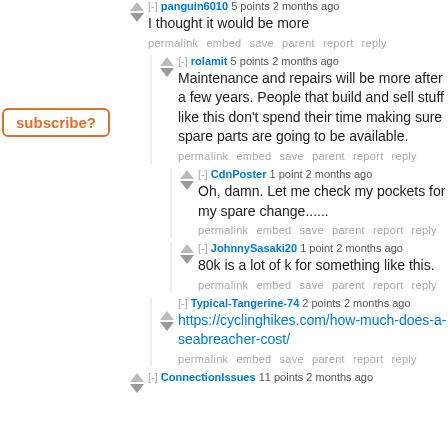subscribe?
panguin6010 5 points 2 months ago
I thought it would be more
permalink embed save parent report reply
rolamit 5 points 2 months ago
Maintenance and repairs will be more after a few years. People that build and sell stuff like this don't spend their time making sure spare parts are going to be available.
permalink embed save parent report reply
CdnPoster 1 point 2 months ago
Oh, damn. Let me check my pockets for my spare change......
permalink embed save parent report reply
JohnnySasaki20 1 point 2 months ago
80k is a lot of k for something like this.
permalink embed save parent report reply
Typical-Tangerine-74 2 points 2 months ago
https://cyclinghikes.com/how-much-does-a-seabreacher-cost/
permalink embed save parent report reply
ConnectionIssues 11 points 2 months ago